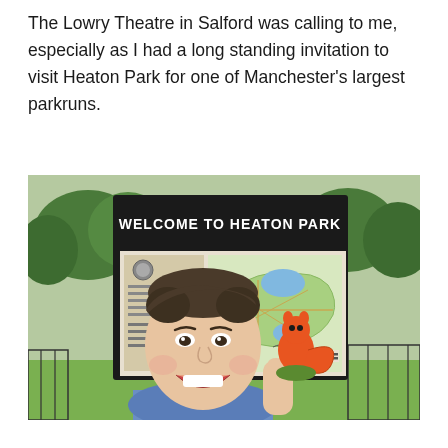The Lowry Theatre in Salford was calling to me, especially as I had a long standing invitation to visit Heaton Park for one of Manchester's largest parkruns.
[Figure (photo): A person taking a selfie in front of a 'Welcome to Heaton Park' information sign. The sign has a large park map on the right side showing green areas, paths, and a blue lake. The person is smiling and holding up a small orange squirrel toy/figure. Trees and a fence are visible in the background.]